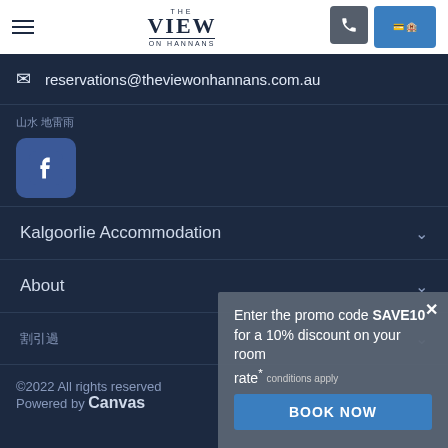The View on Hannans – navigation header with hamburger menu, logo, phone button, book now button
reservations@theviewonhannans.com.au
[garbled social label text]
[Figure (logo): Facebook logo icon – white 'f' on blue rounded square background]
Kalgoorlie Accommodation
About
[garbled text]
©2022 All rights reserved   Powered by Canvas
Enter the promo code SAVE10 for a 10% discount on your room rate* conditions apply
BOOK NOW